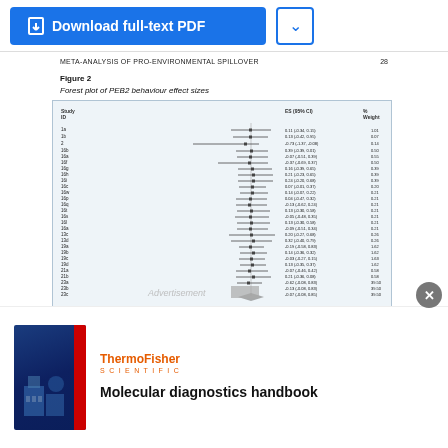META-ANALYSIS OF PRO-ENVIRONMENTAL SPILLOVER    28
Figure 2
Forest plot of PEB2 behaviour effect sizes
[Figure (other): Forest plot showing study IDs with effect sizes (ES 95% CI) and percentage weights. Studies include 1a, 1b, 2, 16b, 16a, 16f, 16g, 16h, 16i, 16c, 16w, 16p, 16q, 16t, 16s, 16l, 16a, 13c, 13d, 19a, 19b, 19c, 19d, 21a, 21b, 23a, 23b, 23c and more. Effect sizes range roughly from -0.73 to 0.39 with varying confidence intervals and weights.]
[Figure (infographic): Advertisement: ThermoFisher Scientific Molecular diagnostics handbook with book cover image]